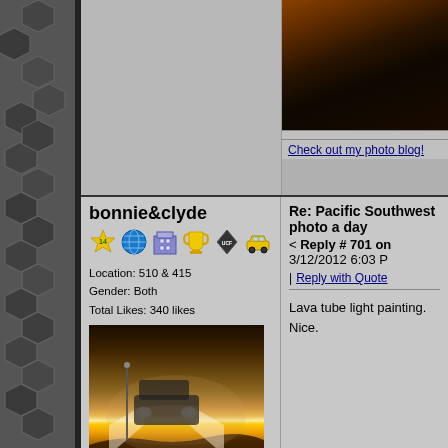[Figure (photo): Dark photo showing warm orange/amber tones, top right area of forum post]
Check out my photo blog!
bonnie&clyde
[Figure (illustration): Forum user badges: star-14, globe, building/city, trophy, UCF diamond logo, yellow car]
Location: 510 & 415
Gender: Both
Total Likes: 340 likes
[Figure (photo): Dark moody photo of a vehicle in a lava tube with light painting, headlights glowing, atmospheric dust/mist]
Cleverly disguised as responsible
Re: Pacific Southwest photo a day
< Reply # 701 on 3/12/2012 6:03 P
Reply with Quote
Lava tube light painting. Nice.